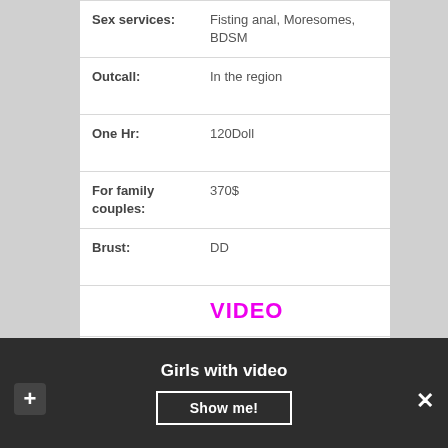| Field | Value |
| --- | --- |
| Sex services: | Fisting anal, Moresomes, BDSM |
| Outcall: | In the region |
| One Hr: | 120Doll |
| For family couples: | 370$ |
| Brust: | DD |
|  | VIDEO |
Kaia
Girls with video
Show me!